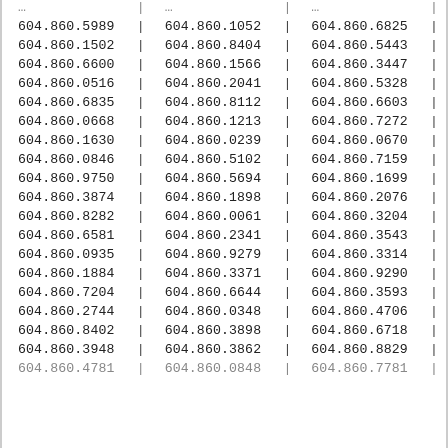| col1 | col2 | col3 |
| --- | --- | --- |
| 604.860.5989 | 604.860.1052 | 604.860.6825 |
| 604.860.1502 | 604.860.8404 | 604.860.5443 |
| 604.860.6600 | 604.860.1566 | 604.860.3447 |
| 604.860.0516 | 604.860.2041 | 604.860.5328 |
| 604.860.6835 | 604.860.8112 | 604.860.6603 |
| 604.860.0668 | 604.860.1213 | 604.860.7272 |
| 604.860.1630 | 604.860.0239 | 604.860.0670 |
| 604.860.0846 | 604.860.5102 | 604.860.7159 |
| 604.860.9750 | 604.860.5694 | 604.860.1699 |
| 604.860.3874 | 604.860.1898 | 604.860.2076 |
| 604.860.8282 | 604.860.0061 | 604.860.3204 |
| 604.860.6581 | 604.860.2341 | 604.860.3543 |
| 604.860.0935 | 604.860.9279 | 604.860.3314 |
| 604.860.1884 | 604.860.3371 | 604.860.9290 |
| 604.860.7204 | 604.860.6644 | 604.860.3593 |
| 604.860.2744 | 604.860.0348 | 604.860.4706 |
| 604.860.8402 | 604.860.3898 | 604.860.6718 |
| 604.860.3948 | 604.860.3862 | 604.860.8829 |
| 604.860.4781 | 604.860.0848 | 604.860.7781 |